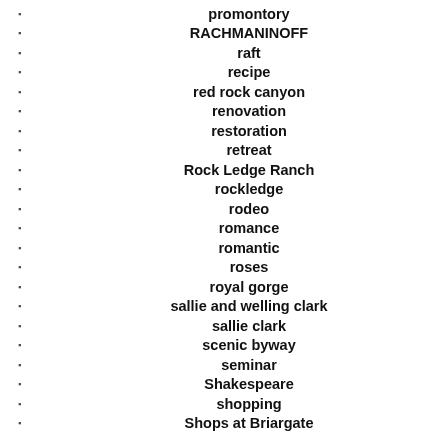promontory
RACHMANINOFF
raft
recipe
red rock canyon
renovation
restoration
retreat
Rock Ledge Ranch
rockledge
rodeo
romance
romantic
roses
royal gorge
sallie and welling clark
sallie clark
scenic byway
seminar
Shakespeare
shopping
Shops at Briargate